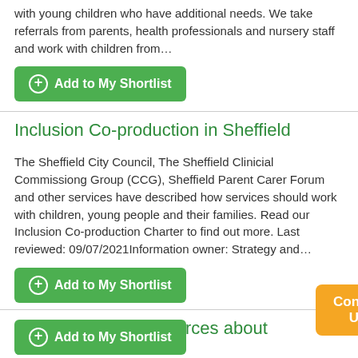with young children who have additional needs. We take referrals from parents, health professionals and nursery staff and work with children from…
Add to My Shortlist
Inclusion Co-production in Sheffield
The Sheffield City Council, The Sheffield Clinicial Commissiong Group (CCG), Sheffield Parent Carer Forum and other services have described how services should work with children, young people and their families. Read our Inclusion Co-production Charter to find out more. Last reviewed: 09/07/2021Information owner: Strategy and…
Add to My Shortlist
Information and resources about coronavirus
Covid vaccination The government's Education Hub has published an FAQ page about vaccinations for clinically vulnerable children and young people. The Challenging Behaviour Foundation have produced a guide to the Covid vaccination for relatives of people with severe learning disabilities whose behaviour challenges. Yo…
Add to My Shortlist
Contact US
Back to top